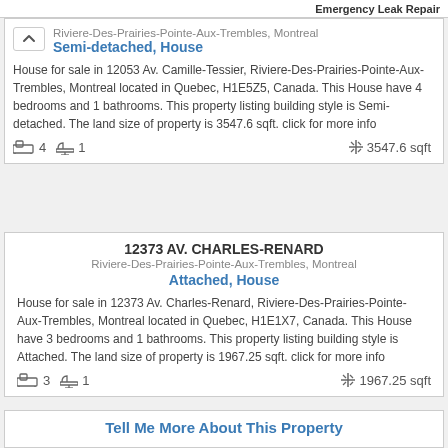Emergency Leak Repair
Riviere-Des-Prairies-Pointe-Aux-Trembles, Montreal
Semi-detached, House
House for sale in 12053 Av. Camille-Tessier, Riviere-Des-Prairies-Pointe-Aux-Trembles, Montreal located in Quebec, H1E5Z5, Canada. This House have 4 bedrooms and 1 bathrooms. This property listing building style is Semi-detached. The land size of property is 3547.6 sqft. click for more info
4 bedrooms, 1 bathroom, 3547.6 sqft
12373 AV. CHARLES-RENARD
Riviere-Des-Prairies-Pointe-Aux-Trembles, Montreal
Attached, House
House for sale in 12373 Av. Charles-Renard, Riviere-Des-Prairies-Pointe-Aux-Trembles, Montreal located in Quebec, H1E1X7, Canada. This House have 3 bedrooms and 1 bathrooms. This property listing building style is Attached. The land size of property is 1967.25 sqft. click for more info
3 bedrooms, 1 bathroom, 1967.25 sqft
Tell Me More About This Property